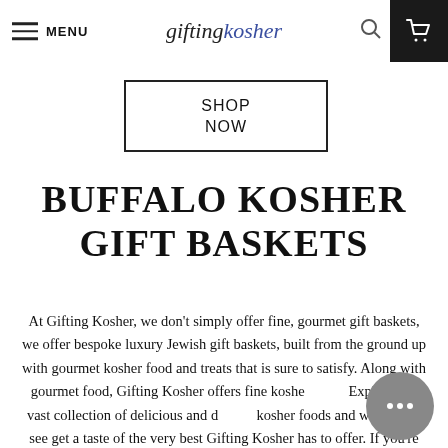MENU  giftingkosher
SHOP NOW
BUFFALO KOSHER GIFT BASKETS
At Gifting Kosher, we don't simply offer fine, gourmet gift baskets, we offer bespoke luxury Jewish gift baskets, built from the ground up with gourmet kosher food and treats that is sure to satisfy. Along with gourmet food, Gifting Kosher offers fine kosher wine. Explore our vast collection of delicious and diverse kosher foods and wines, and see get a taste of the very best Gifting Kosher has to offer. If you're ordering a last